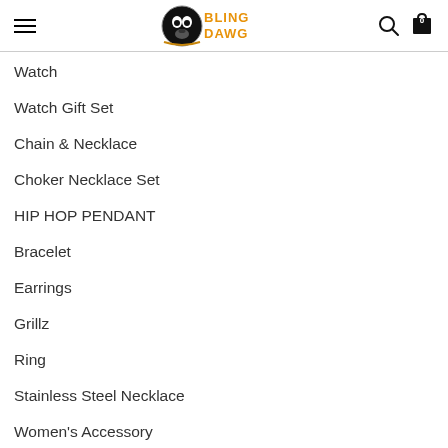Bling Dawg - navigation menu with hamburger, logo, search and cart icons
Watch
Watch Gift Set
Chain & Necklace
Choker Necklace Set
HIP HOP PENDANT
Bracelet
Earrings
Grillz
Ring
Stainless Steel Necklace
Women's Accessory
Wooden Necklace